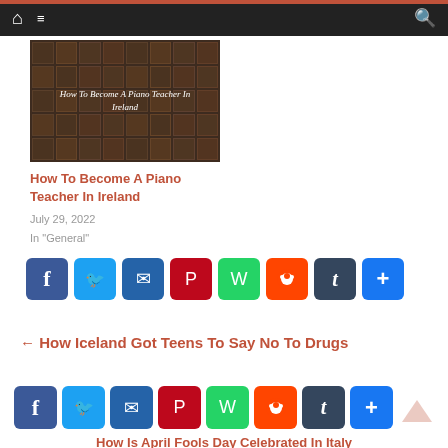Navigation bar with home, menu, and search icons
[Figure (illustration): Dark brown piano keys image with overlaid italic text 'How To Become A Piano Teacher In Ireland']
How To Become A Piano Teacher In Ireland
July 29, 2022
In "General"
[Figure (infographic): Row of social media share buttons: Facebook, Twitter, Email, Pinterest, WhatsApp, Reddit, Tumblr, More]
← How Iceland Got Teens To Say No To Drugs
[Figure (infographic): Second row of social media share buttons: Facebook, Twitter, Email, Pinterest, WhatsApp, Reddit, Tumblr, More]
How Is April Fools Day Celebrated In Italy